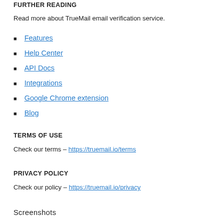FURTHER READING
Read more about TrueMail email verification service.
Features
Help Center
API Docs
Integrations
Google Chrome extension
Blog
TERMS OF USE
Check our terms – https://truemail.io/terms
PRIVACY POLICY
Check our policy – https://truemail.io/privacy
Screenshots